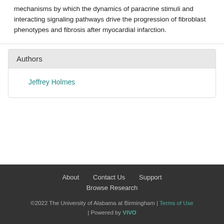mechanisms by which the dynamics of paracrine stimuli and interacting signaling pathways drive the progression of fibroblast phenotypes and fibrosis after myocardial infarction.
Authors
Jeffrey Holmes
About   Contact Us   Support   Browse Research   ©2022 The University of Alabama at Birmingham | Terms of Use | Powered by VIVO